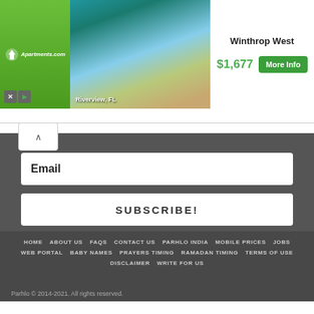[Figure (screenshot): Apartments.com advertisement banner showing Winthrop West property in Riverview, FL with pool photo, price $1,677 and More Info button]
Email
SUBSCRIBE!
HOME   ABOUT US   FAQS   CONTACT US   PARHLO INDIA   MOBILE PRICES   JOBS   WEB PORTAL   BABY NAMES   PRAYERS TIMING   RAMADAN TIMING   TERMS OF USE   DISCLAIMER   WRITE FOR US
Parhlo © 2014-2021. All rights reserved.